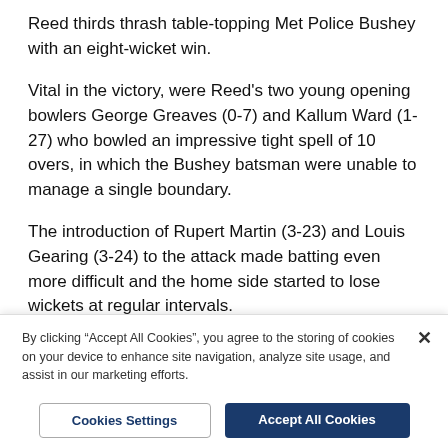Reed thirds thrash table-topping Met Police Bushey with an eight-wicket win.
Vital in the victory, were Reed's two young opening bowlers George Greaves (0-7) and Kallum Ward (1-27) who bowled an impressive tight spell of 10 overs, in which the Bushey batsman were unable to manage a single boundary.
The introduction of Rupert Martin (3-23) and Louis Gearing (3-24) to the attack made batting even more difficult and the home side started to lose wickets at regular intervals.
The spin pair of Mitchell Cameron (2-15) and Pet...
By clicking “Accept All Cookies”, you agree to the storing of cookies on your device to enhance site navigation, analyze site usage, and assist in our marketing efforts.
Cookies Settings
Accept All Cookies